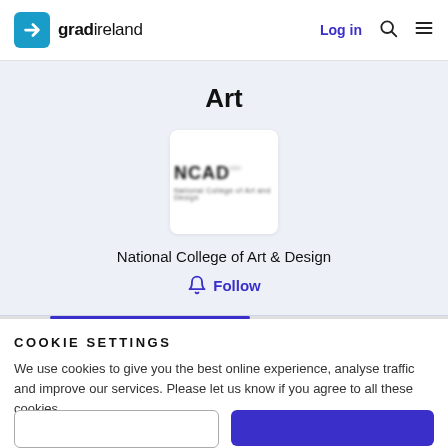gradireland — Log in
Art
[Figure (logo): NCAD National College of Art & Design logo, blurred, on white card]
National College of Art & Design
Follow
COOKIE SETTINGS
We use cookies to give you the best online experience, analyse traffic and improve our services. Please let us know if you agree to all these cookies.